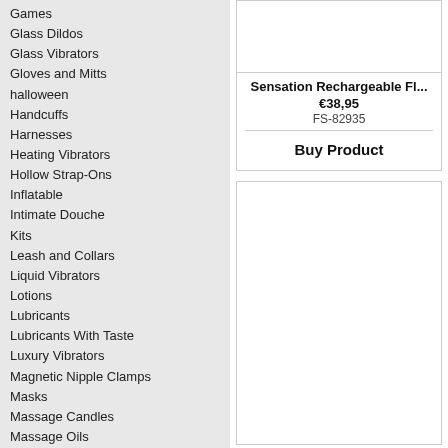Games
Glass Dildos
Glass Vibrators
Gloves and Mitts
halloween
Handcuffs
Harnesses
Heating Vibrators
Hollow Strap-Ons
Inflatable
Intimate Douche
Kits
Leash and Collars
Liquid Vibrators
Lotions
Lubricants
Lubricants With Taste
Luxury Vibrators
Magnetic Nipple Clamps
Masks
Massage Candles
Massage Oils
Massager & Wands
Masturbators & Strokers
Maxi Dildos
Nipple Vibrators & Stickers
Non-Phallic Dildos
Paddles
Panty Vibrator
Pheromones
Pills & Supplements
Pinwheels
Promotional
Prostate Stimulators
Prostate Vibrators
Pumps
Rabbit Vibrators
Realistic Dildos
Sensation Rechargeable Fl...
€38,95
FS-82935
Buy Product
[Figure (other): Product image placeholder (white box with border)]